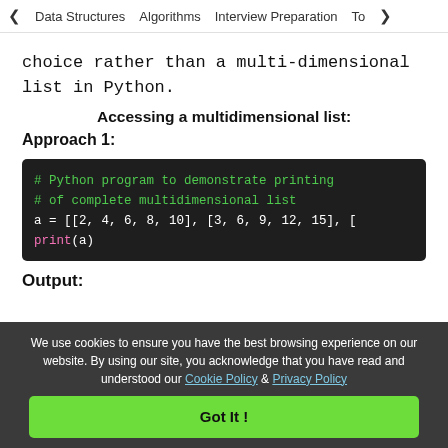< Data Structures   Algorithms   Interview Preparation   Top>
choice rather than a multi-dimensional list in Python.
Accessing a multidimensional list:
Approach 1:
# Python program to demonstrate printing
# of complete multidimensional list
a = [[2, 4, 6, 8, 10], [3, 6, 9, 12, 15], [
print(a)
Output:
We use cookies to ensure you have the best browsing experience on our website. By using our site, you acknowledge that you have read and understood our Cookie Policy & Privacy Policy
Got It !